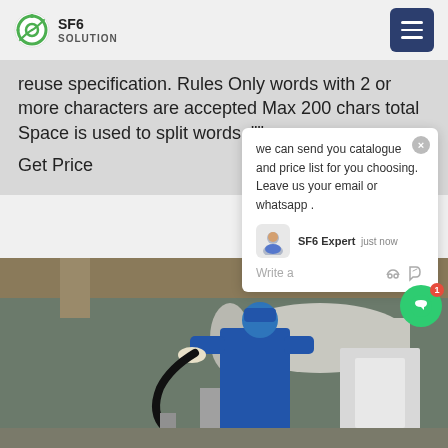SF6 SOLUTION
reuse specification. Rules Only words with 2 or more characters are accepted Max 200 chars total Space is used to split words, "" can
Get Price
[Figure (photo): A worker in blue overalls and gloves working on SF6 gas equipment / electrical switchgear infrastructure]
we can send you catalogue and price list for you choosing. Leave us your email or whatsapp .
SF6 Expert   just now
Write a